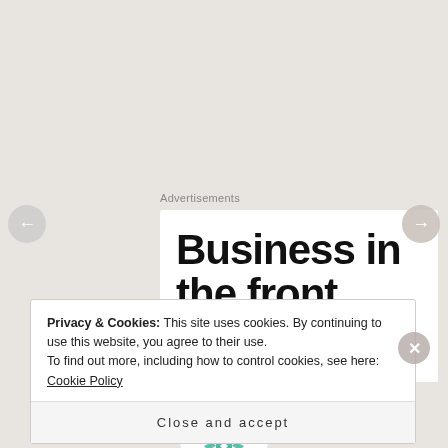Advertisements
[Figure (other): Advertisement banner showing large bold text 'Business in the front']
[Figure (logo): Circular teal/green decorative logo with geometric star pattern]
Melissa
Privacy & Cookies: This site uses cookies. By continuing to use this website, you agree to their use.
To find out more, including how to control cookies, see here: Cookie Policy
Close and accept